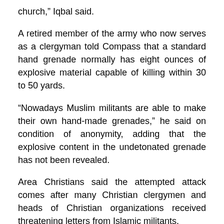church,” Iqbal said.
A retired member of the army who now serves as a clergyman told Compass that a standard hand grenade normally has eight ounces of explosive material capable of killing within 30 to 50 yards.
“Nowadays Muslim militants are able to make their own hand-made grenades,” he said on condition of anonymity, adding that the explosive content in the undetonated grenade has not been revealed.
Area Christians said the attempted attack comes after many Christian clergymen and heads of Christian organizations received threatening letters from Islamic militants.
In spite of the incident, the following Sunday service took